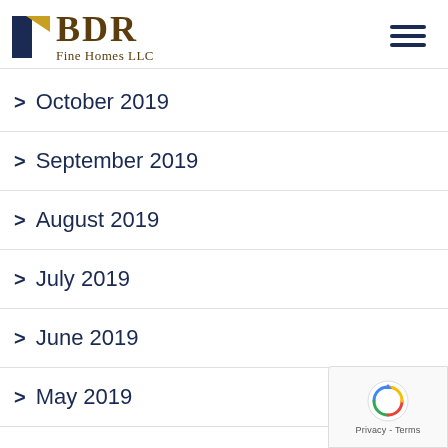[Figure (logo): BDR Fine Homes LLC logo with navy and gold house icon and serif text]
October 2019
September 2019
August 2019
July 2019
June 2019
May 2019
[Figure (other): reCAPTCHA badge with Privacy and Terms text]